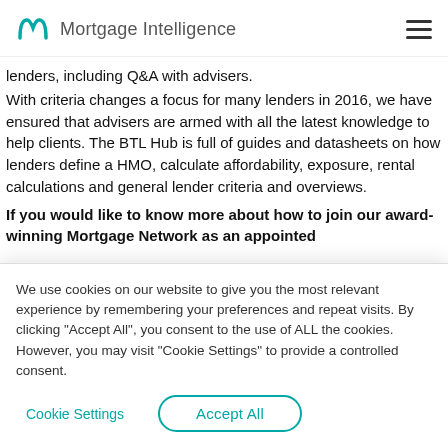Mortgage Intelligence
lenders, including Q&A with advisers. With criteria changes a focus for many lenders in 2016, we have ensured that advisers are armed with all the latest knowledge to help clients. The BTL Hub is full of guides and datasheets on how lenders define a HMO, calculate affordability, exposure, rental calculations and general lender criteria and overviews.
If you would like to know more about how to join our award-winning Mortgage Network as an appointed
We use cookies on our website to give you the most relevant experience by remembering your preferences and repeat visits. By clicking "Accept All", you consent to the use of ALL the cookies. However, you may visit "Cookie Settings" to provide a controlled consent.